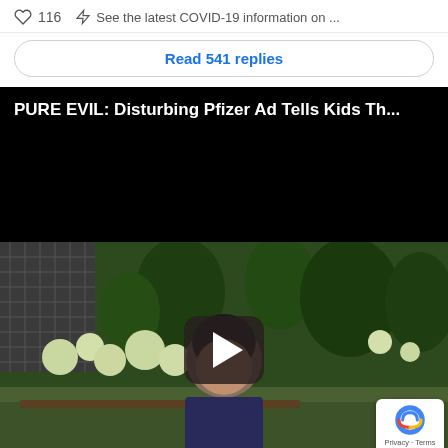116  See the latest COVID-19 information on ...
Read 541 replies
[Figure (screenshot): Black video thumbnail with white bold title text: PURE EVIL: Disturbing Pfizer Ad Tells Kids Th...]
[Figure (screenshot): Video thumbnail showing a person in a garden setting with white hydrangeas and green trees. A dark rounded-rectangle play button overlay is centered. A reCAPTCHA badge appears bottom-right showing Privacy - Terms.]